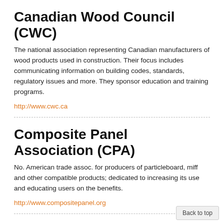Canadian Wood Council (CWC)
The national association representing Canadian manufacturers of wood products used in construction. Their focus includes communicating information on building codes, standards, regulatory issues and more. They sponsor education and training programs.
http://www.cwc.ca
Composite Panel Association (CPA)
No. American trade assoc. for producers of particleboard, miff and other compatible products; dedicated to increasing its use and educating users on the benefits.
http://www.compositepanel.org
Council of Forest Industries (COFI)
The Council of Forest Industries is the voice of the BC interior
Back to top